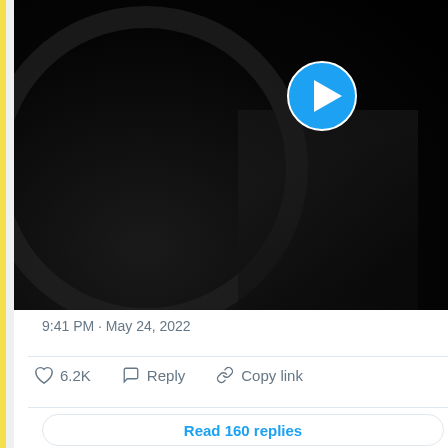[Figure (screenshot): Dark video thumbnail with a play button (blue circle with white triangle) in the upper right area. The thumbnail shows a dark scene with what appears to be a wheel arc and shadowy figure.]
9:41 PM · May 24, 2022
♡ 6.2K   ○ Reply   ∂ Copy link
Read 160 replies